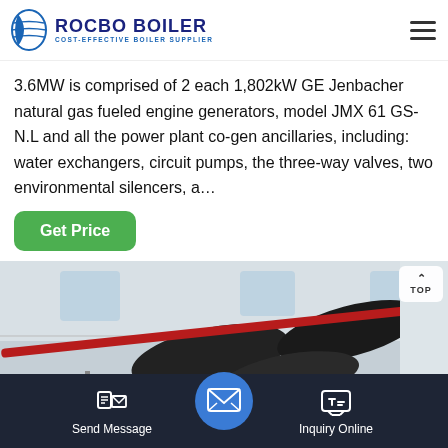[Figure (logo): Rocbo Boiler logo with crescent/globe icon, company name in dark blue, tagline 'COST-EFFECTIVE BOILER SUPPLIER']
3.6MW is comprised of 2 each 1,802kW GE Jenbacher natural gas fueled engine generators, model JMX 61 GS-N.L and all the power plant co-gen ancillaries, including: water exchangers, circuit pumps, the three-way valves, two environmental silencers, a…
[Figure (photo): Interior of an industrial boiler/power plant facility showing large black pipes overhead, a blue cylindrical vessel, orange/yellow pipes on the left, metal walkway grating, and white ceiling with windows]
Send Message
Inquiry Online